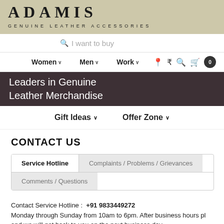[Figure (logo): ADAMIS logo with GENUINE LEATHER ACCESSORIES tagline on beige background]
[Figure (screenshot): Search bar with placeholder text 'I want to buy']
Women ∨  Men ∨  Work ∨  0
Leaders in Genuine Leather Merchandise
Gift Ideas ∨  Offer Zone ∨
CONTACT US
Service Hotline | Complaints / Problems / Grievances | Comments / Questions
Contact Service Hotline :  +91 9833449272
Monday through Sunday from 10am to 6pm. After business hours pl
and we will get back to you on the next business day.